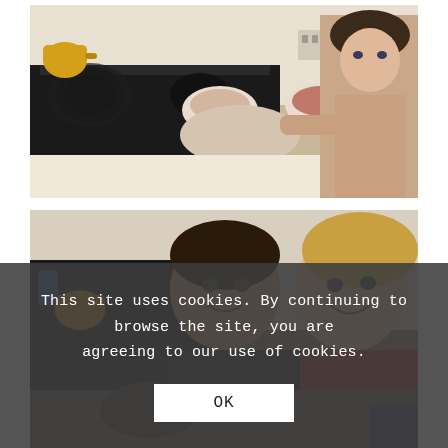[Figure (photo): A shirtless boy standing in a kitchen next to a stove with pots, bowls, and a yellow teapot on the stovetop, looking at the camera.]
[Figure (photo): Two children – a boy and a girl – in a kitchen near a stove with a yellow teapot visible, both looking at the camera.]
This site uses cookies. By continuing to browse the site, you are agreeing to our use of cookies.
OK